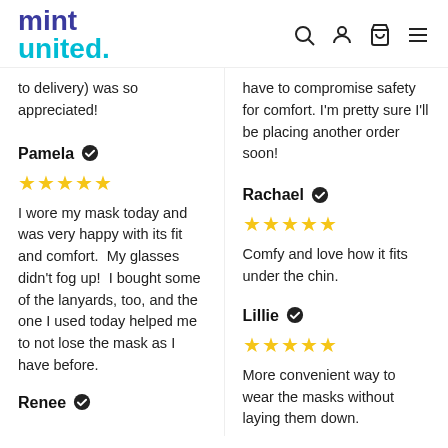mint united.
to delivery) was so appreciated!
have to compromise safety for comfort. I'm pretty sure I'll be placing another order soon!
Pamela ✓
★★★★★
I wore my mask today and was very happy with its fit and comfort.  My glasses didn't fog up!  I bought some of the lanyards, too, and the one I used today helped me to not lose the mask as I have before.
Rachael ✓
★★★★★
Comfy and love how it fits under the chin.
Lillie ✓
★★★★★
More convenient way to wear the masks without laying them down.
Renee ✓